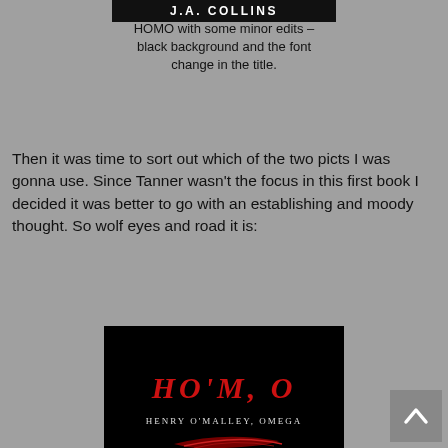J.A. COLLINS
HOMO with some minor edits – black background and the font change in the title.
Then it was time to sort out which of the two picts I was gonna use. Since Tanner wasn't the focus in this first book I decided it was better to go with an establishing and moody thought. So wolf eyes and road it is:
[Figure (illustration): Book cover for 'HO'M, O – Henry O'Malley, Omega' showing stylized red italic title text, subtitle in white serif caps, a red feather or slash graphic, and glowing yellow wolf eyes against a black background.]